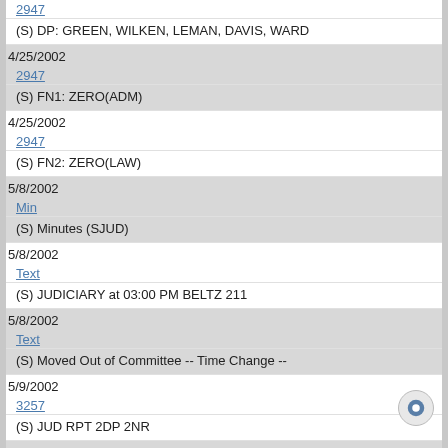2947
(S) DP: GREEN, WILKEN, LEMAN, DAVIS, WARD
4/25/2002
2947
(S) FN1: ZERO(ADM)
4/25/2002
2947
(S) FN2: ZERO(LAW)
5/8/2002
Min
(S) Minutes (SJUD)
5/8/2002
Text
(S) JUDICIARY at 03:00 PM BELTZ 211
5/8/2002
Text
(S) Moved Out of Committee -- Time Change --
5/9/2002
3257
(S) JUD RPT 2DP 2NR
5/9/2002